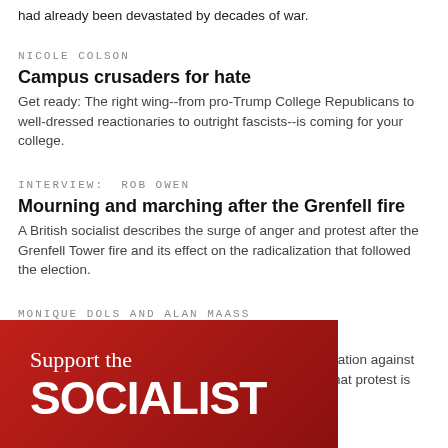had already been devastated by decades of war.
NICOLE COLSON
Campus crusaders for hate
Get ready: The right wing--from pro-Trump College Republicans to well-dressed reactionaries to outright fascists--is coming for your college.
INTERVIEW: ROB OWEN
Mourning and marching after the Grenfell fire
A British socialist describes the surge of anger and protest after the Grenfell Tower fire and its effect on the radicalization that followed the election.
MONIQUE DOLS AND ALAN MAASS
In defense of protesting racists
A backlash is in full swing after the Vermont demonstration against Charles Murray, but those leading the charge forget that protest is free speech, too.
[Figure (illustration): Red banner with white text reading 'Support the SOCIALIST']